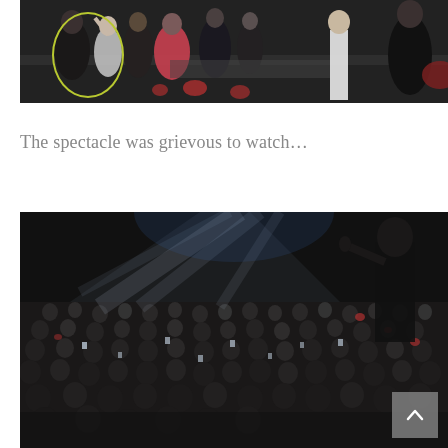[Figure (photo): A crowd scene at what appears to be a formal awards ceremony or gala event. Audience members in formal attire are visible, with a yellow-green oval circle drawn around a figure on the left side. Some people in red and dark clothing are visible in the background. The image is dark with warm lighting.]
The spectacle was grievous to watch…
[Figure (photo): A concert or large event scene with a performer on stage right, silhouetted against bright stage lighting beams cutting through a dark arena. A large crowd of attendees fills the floor, photographing the performance. A scroll-to-top button is visible in the lower right corner of the image.]